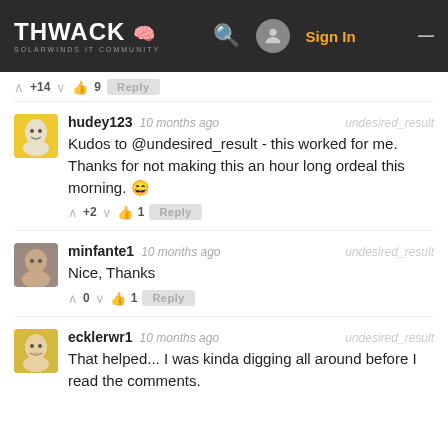THWACK SOLARWINDS IT COMMUNITY — Sign In
+14  👍 9  Reply
hudey123  10 months ago  undesired_result
Kudos to @undesired_result - this worked for me. Thanks for not making this an hour long ordeal this morning. 😁
+2  👍 1  Reply
minfante1  10 months ago  undesired_result
Nice, Thanks
0  👍 1  Reply
ecklerwr1  10 months ago  undesired_result
That helped... I was kinda digging all around before I read the comments.